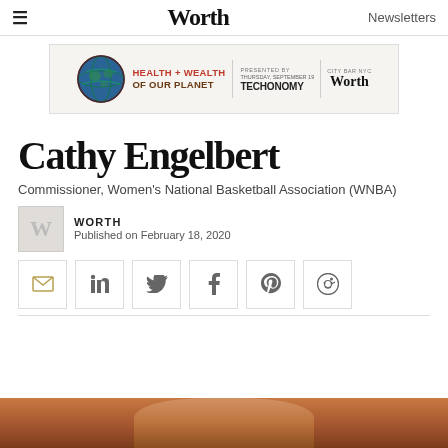Worth | Newsletters
[Figure (infographic): Health + Wealth of Our Planet event banner featuring a globe icon, event date, Techonomy and Worth logos]
Cathy Engelbert
Commissioner, Women's National Basketball Association (WNBA)
WORTH
Published on February 18, 2020
[Figure (infographic): Social share buttons: email, LinkedIn, Twitter, Facebook, Pinterest, Reddit]